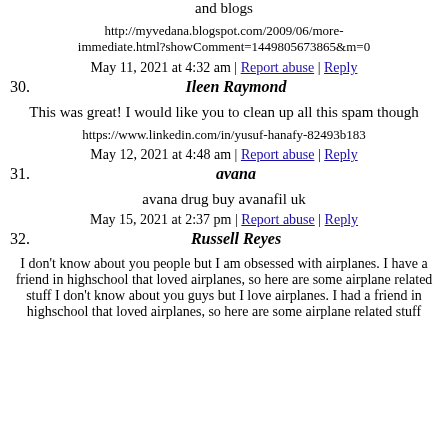and blogs
http://myvedana.blogspot.com/2009/06/more-immediate.html?showComment=1449805673865&m=0
May 11, 2021 at 4:32 am | Report abuse | Reply
30. Ileen Raymond
This was great! I would like you to clean up all this spam though
https://www.linkedin.com/in/yusuf-hanafy-82493b183
May 12, 2021 at 4:48 am | Report abuse | Reply
31. avana
avana drug buy avanafil uk
May 15, 2021 at 2:37 pm | Report abuse | Reply
32. Russell Reyes
I don't know about you people but I am obsessed with airplanes. I have a friend in highschool that loved airplanes, so here are some airplane related stuff I don't know about you guys but I love airplanes. I had a friend in highschool that loved airplanes, so here are some airplane related stuff